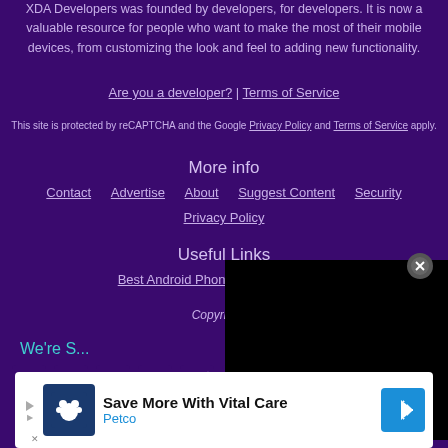XDA Developers was founded by developers, for developers. It is now a valuable resource for people who want to make the most of their mobile devices, from customizing the look and feel to adding new functionality.
Are you a developer? | Terms of Service
This site is protected by reCAPTCHA and the Google Privacy Policy and Terms of Service apply.
More info
Contact
Advertise
About
Suggest Content
Security
Privacy Policy
Useful Links
Best Android Phones
How to Ro...
Copyright ...
We're S...
[Figure (screenshot): Social media icons row: Twitter, Discord, Facebook, YouTube, Telegram, Instagram]
[Figure (screenshot): Black video overlay box with close button]
Save More With Vital Care - Petco (advertisement banner)